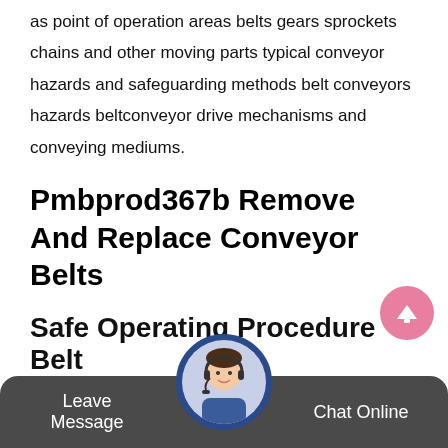as point of operation areas belts gears sprockets chains and other moving parts typical conveyor hazards and safeguarding methods belt conveyors hazards beltconveyor drive mechanisms and conveying mediums.
Pmbprod367b Remove And Replace Conveyor Belts
Pmbprod367b remove and replace conveyor belts date this document was generated 26 may 2012 application of approved hazard control safety procedures and the use of ppe in relation to handling materials equipment operation and cleanup function and operating principles of conveyor systems and ancillary equ
Safe Operating Procedure Belt